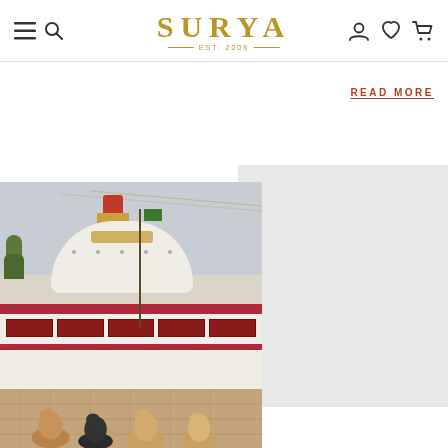SURYA EST. 2008
READ MORE
[Figure (photo): A temple stupa (likely Boudhanath Stupa in Nepal) with a white dome, red and gold decorations, prayer flags, and several dogs sitting in the foreground on a cobblestone plaza. A gray card/box is visible to the right of the photo.]